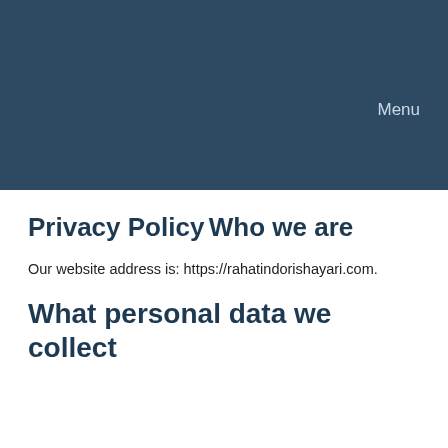Menu
Privacy Policy
Who we are
Our website address is: https://rahatindorishayari.com.
What personal data we collect